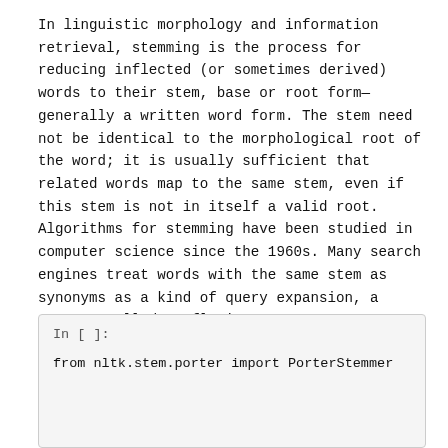In linguistic morphology and information retrieval, stemming is the process for reducing inflected (or sometimes derived) words to their stem, base or root form—generally a written word form. The stem need not be identical to the morphological root of the word; it is usually sufficient that related words map to the same stem, even if this stem is not in itself a valid root. Algorithms for stemming have been studied in computer science since the 1960s. Many search engines treat words with the same stem as synonyms as a kind of query expansion, a process called conflation.

Stemming programs are commonly referred to as stemming algorithms or stemmers.
In [ ]:

from nltk.stem.porter import PorterStemmer